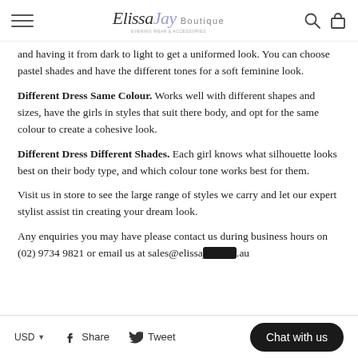ElissaJay Boutique
and having it from dark to light to get a uniformed look. You can choose pastel shades and have the different tones for a soft feminine look.
Different Dress Same Colour. Works well with different shapes and sizes, have the girls in styles that suit there body, and opt for the same colour to create a cohesive look.
Different Dress Different Shades. Each girl knows what silhouette looks best on their body type, and which colour tone works best for them.
Visit us in store to see the large range of styles we carry and let our expert stylist assist tin creating your dream look.
Any enquiries you may have please contact us during business hours on (02) 9734 9821 or email us at sales@elissajay.com.au
USD | Share | Tweet | Chat with us